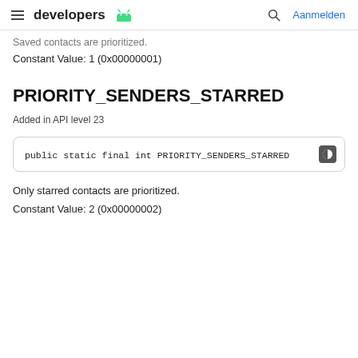developers [android logo] | Aanmelden
Saved contacts are prioritized.
Constant Value: 1 (0x00000001)
PRIORITY_SENDERS_STARRED
Added in API level 23
public static final int PRIORITY_SENDERS_STARRED
Only starred contacts are prioritized.
Constant Value: 2 (0x00000002)